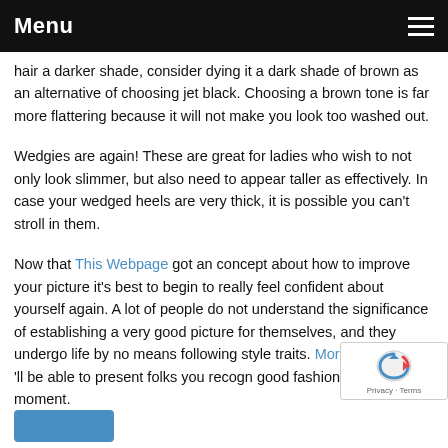Menu
hair a darker shade, consider dying it a dark shade of brown as an alternative of choosing jet black. Choosing a brown tone is far more flattering because it will not make you look too washed out.
Wedgies are again! These are great for ladies who wish to not only look slimmer, but also need to appear taller as effectively. In case your wedged heels are very thick, it is possible you can't stroll in them.
Now that This Webpage got an concept about how to improve your picture it's best to begin to really feel confident about yourself again. A lot of people do not understand the significance of establishing a very good picture for themselves, and they undergo life by no means following style traits. More suggestions 'll be able to present folks you recogn good fashion after at the moment.